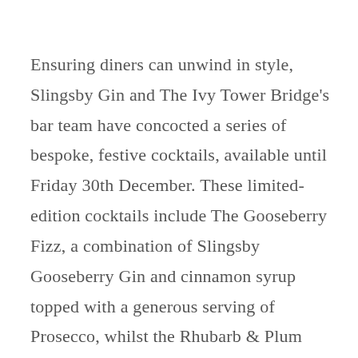Ensuring diners can unwind in style, Slingsby Gin and The Ivy Tower Bridge's bar team have concocted a series of bespoke, festive cocktails, available until Friday 30th December. These limited-edition cocktails include The Gooseberry Fizz, a combination of Slingsby Gooseberry Gin and cinnamon syrup topped with a generous serving of Prosecco, whilst the Rhubarb & Plum Flip blends Slingsby's Rhubarb gin with lemon juice and a plum foam for a fruity treat. The delicious Tower Bridge Fog, meanwhile, sees Slingsby's classic London Dry gin mixed with Baileys, almond milk infused with vanilla, honey and cinnamon – the ideal winter warmer, take it from me.